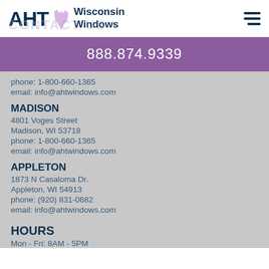AHT Wisconsin Windows
888.874.9339
phone: 1-800-660-1365
email: info@ahtwindows.com
MADISON
4801 Voges Street
Madison, WI 53718
phone: 1-800-660-1365
email: info@ahtwindows.com
APPLETON
1873 N Casaloma Dr.
Appleton, WI 54913
phone: (920) 831-0682
email: info@ahtwindows.com
HOURS
Mon - Fri: 8AM - 5PM